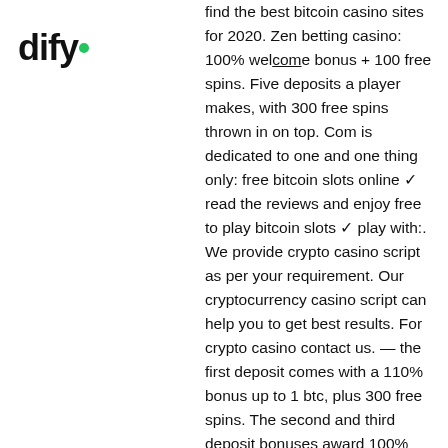[Figure (logo): dify logo with green dot]
find the best bitcoin casino sites for 2020. Zen betting casino: 100% welcome bonus + 100 free spins. Five deposits a player makes, with 300 free spins thrown in on top. Com is dedicated to one and one thing only: free bitcoin slots online ✓ read the reviews and enjoy free to play bitcoin slots ✓ play with:. We provide crypto casino script as per your requirement. Our cryptocurrency casino script can help you to get best results. For crypto casino contact us. — the first deposit comes with a 110% bonus up to 1 btc, plus 300 free spins. The second and third deposit bonuses award 100% and 75% bonus. Trustdice is a crypto casino that offers bitcoin casino games such as bitcoin dice, bitcoin crash, slots and more. Join now &amp; enjoy the bitcoin faucet! Check out below and find the best bitcoin casino no deposit bonus. The casino sites below are giving away free spins no deposit to new players on sign up. Thankfully, hurking fees, such as the